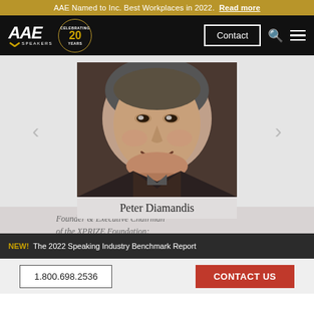AAE Named to Inc. Best Workplaces in 2022. Read more
[Figure (screenshot): AAE Speakers logo with Celebrating 20 Years badge, Contact button, search and menu icons on black navigation bar]
[Figure (photo): Portrait photo of Peter Diamandis, a man with dark hair smiling, wearing a dark jacket]
Peter Diamandis
Founder & Executive Chairman of the XPRIZE Foundation;
NEW! The 2022 Speaking Industry Benchmark Report
1.800.698.2536   CONTACT US